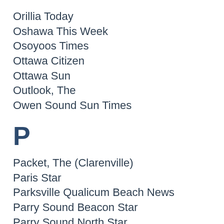Orillia Today
Oshawa This Week
Osoyoos Times
Ottawa Citizen
Ottawa Sun
Outlook, The
Owen Sound Sun Times
P
Packet, The (Clarenville)
Paris Star
Parksville Qualicum Beach News
Parry Sound Beacon Star
Parry Sound North Star